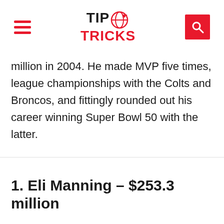TIP TRICKS
million in 2004. He made MVP five times, league championships with the Colts and Broncos, and fittingly rounded out his career winning Super Bowl 50 with the latter.
1. Eli Manning – $253.3 million